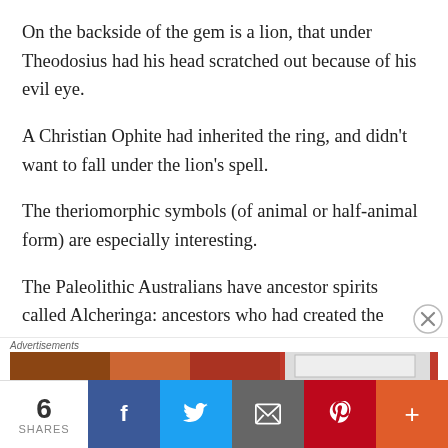On the backside of the gem is a lion, that under Theodosius had his head scratched out because of his evil eye.
A Christian Ophite had inherited the ring, and didn't want to fall under the lion's spell.
The theriomorphic symbols (of animal or half-animal form) are especially interesting.
The Paleolithic Australians have ancestor spirits called Alcheringa: ancestors who had created the world by
Advertisements
[Figure (other): Advertisement image strip showing food and a box]
6 SHARES | Facebook | Twitter | Email | Pinterest | More